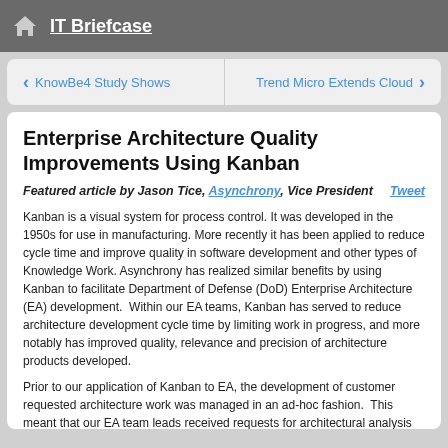IT Briefcase
< KnowBe4 Study Shows    Trend Micro Extends Cloud >
Enterprise Architecture Quality Improvements Using Kanban
Featured article by Jason Tice, Asynchrony, Vice President    Tweet
Kanban is a visual system for process control. It was developed in the 1950s for use in manufacturing. More recently it has been applied to reduce cycle time and improve quality in software development and other types of Knowledge Work. Asynchrony has realized similar benefits by using Kanban to facilitate Department of Defense (DoD) Enterprise Architecture (EA) development.  Within our EA teams, Kanban has served to reduce architecture development cycle time by limiting work in progress, and more notably has improved quality, relevance and precision of architecture products developed.
Prior to our application of Kanban to EA, the development of customer requested architecture work was managed in an ad-hoc fashion.  This meant that our EA team leads received requests for architectural analysis and then assigned tasks to members of the EA team that the leads